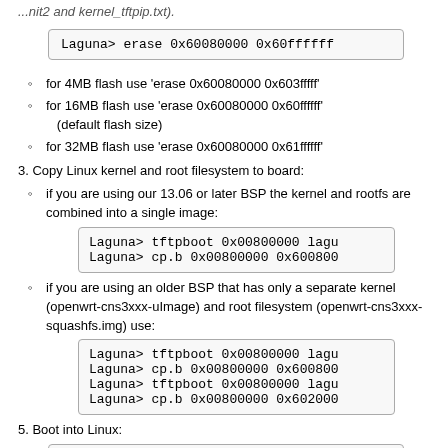...nit2 and kernel_tftpip.txt).
Laguna> erase 0x60080000 0x60ffffff
for 4MB flash use 'erase 0x60080000 0x603fffff'
for 16MB flash use 'erase 0x60080000 0x60ffffff' (default flash size)
for 32MB flash use 'erase 0x60080000 0x61ffffff'
3. Copy Linux kernel and root filesystem to board:
if you are using our 13.06 or later BSP the kernel and rootfs are combined into a single image:
Laguna> tftpboot 0x00800000 lagu
Laguna> cp.b 0x00800000 0x600800
if you are using an older BSP that has only a separate kernel (openwrt-cns3xxx-uImage) and root filesystem (openwrt-cns3xxx-squashfs.img) use:
Laguna> tftpboot 0x00800000 lagu
Laguna> cp.b 0x00800000 0x600800
Laguna> tftpboot 0x00800000 lagu
Laguna> cp.b 0x00800000 0x602000
5. Boot into Linux:
Laguna> boot
If the bootloader environment was modified you may want to erase